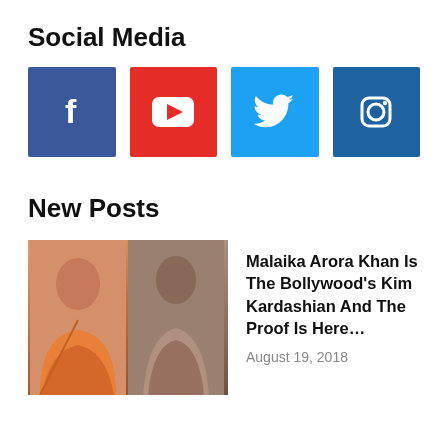Social Media
[Figure (infographic): Four social media icon boxes: Facebook (blue), YouTube (red), Twitter (light blue), Instagram (dark blue)]
New Posts
[Figure (photo): Two photos of Malaika Arora Khan side by side — left photo shows her in an orange backless dress, right photo shows her in a beige tight dress]
Malaika Arora Khan Is The Bollywood’s Kim Kardashian And The Proof Is Here…
August 19, 2018